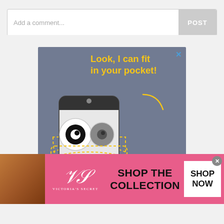[Figure (screenshot): Comment input bar with placeholder text 'Add a comment...' and a grey POST button on the right]
[Figure (infographic): App advertisement on grey-blue background showing a phone mascot peeking out of a pocket with text 'Look, I can fit in your pocket!' and 'Download our app and fight boredom anywhere you go!' with app store download buttons]
[Figure (infographic): Victoria's Secret banner advertisement with model photo, VS logo, 'SHOP THE COLLECTION' text in black, and a white 'SHOP NOW' button]